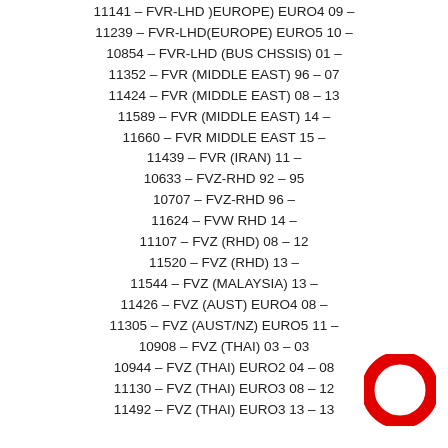11141 – FVR-LHD )EUROPE) EURO4 09 –
11239 – FVR-LHD(EUROPE) EURO5 10 –
10854 – FVR-LHD (BUS CHSSIS) 01 –
11352 – FVR (MIDDLE EAST) 96 – 07
11424 – FVR (MIDDLE EAST) 08 – 13
11589 – FVR (MIDDLE EAST) 14 –
11660 – FVR MIDDLE EAST 15 –
11439 – FVR (IRAN) 11 –
10633 – FVZ-RHD 92 – 95
10707 – FVZ-RHD 96 –
11624 – FVW RHD 14 –
11107 – FVZ (RHD) 08 – 12
11520 – FVZ (RHD) 13 –
11544 – FVZ (MALAYSIA) 13 –
11426 – FVZ (AUST) EURO4 08 –
11305 – FVZ (AUST/NZ) EURO5 11 –
10908 – FVZ (THAI) 03 – 03
10944 – FVZ (THAI) EURO2 04 – 08
11130 – FVZ (THAI) EURO3 08 – 12
11492 – FVZ (THAI) EURO3 13 – 13
[Figure (logo): Red circular ring logo (Isuzu or similar brand logo)]